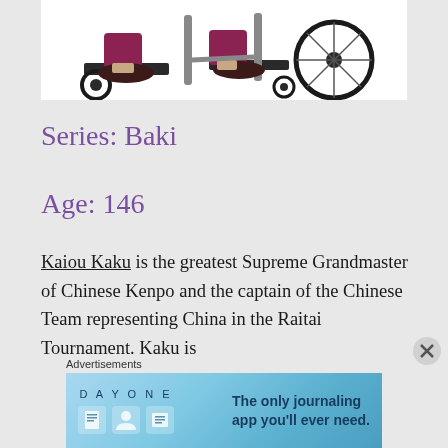[Figure (illustration): Bottom portion of an anime character in a wheelchair, showing legs in dark red/maroon pants and dark shoes resting on footrests, with wheelchair wheels and frame visible. White background.]
Series: Baki
Age: 146
Kaiou Kaku is the greatest Supreme Grandmaster of Chinese Kenpo and the captain of the Chinese Team representing China in the Raitai Tournament. Kaku is
Advertisements
[Figure (screenshot): Blue advertisement banner for DAY ONE journaling app with icons and text 'The only journaling app you'll ever need.']